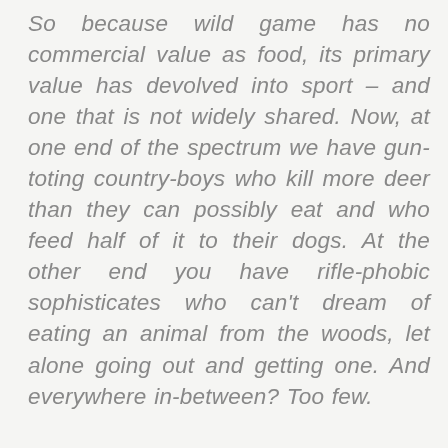So because wild game has no commercial value as food, its primary value has devolved into sport – and one that is not widely shared. Now, at one end of the spectrum we have gun-toting country-boys who kill more deer than they can possibly eat and who feed half of it to their dogs. At the other end you have rifle-phobic sophisticates who can't dream of eating an animal from the woods, let alone going out and getting one. And everywhere in-between? Too few.